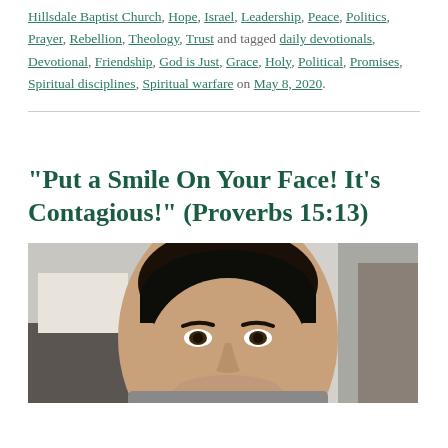Hillsdale Baptist Church, Hope, Israel, Leadership, Peace, Politics, Prayer, Rebellion, Theology, Trust and tagged daily devotionals, Devotional, Friendship, God is Just, Grace, Holy, Political, Promises, Spiritual disciplines, Spiritual warfare on May 8, 2020.
“Put a Smile On Your Face! It’s Contagious!” (Proverbs 15:13)
[Figure (photo): A selfie-style photo of a young man with dark hair, smiling slightly, taken indoors. Another person is partially visible on the right side.]